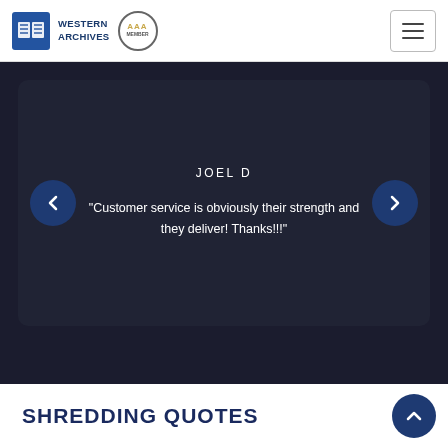[Figure (logo): Western Archives logo with blue filing cabinet icon and text, plus AAA badge]
[Figure (other): Hamburger menu button in top right corner]
JOEL D
"Customer service is obviously their strength and they deliver! Thanks!!!"
SHREDDING QUOTES